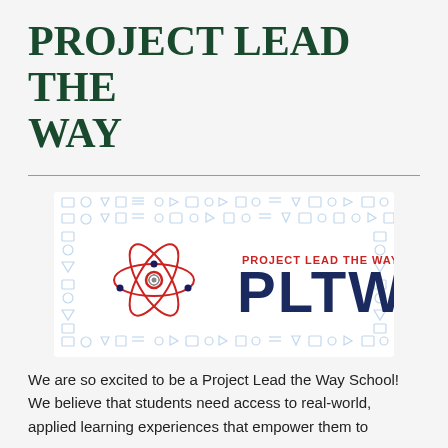PROJECT LEAD THE WAY
[Figure (logo): Project Lead the Way (PLTW) logo: red atom icon with gear center on left, text 'PROJECT LEAD THE WAY' in red above large dark navy 'PLTW' letters, on a white background with blue STEM/technology icon pattern border]
We are so excited to be a Project Lead the Way School! We believe that students need access to real-world, applied learning experiences that empower them to